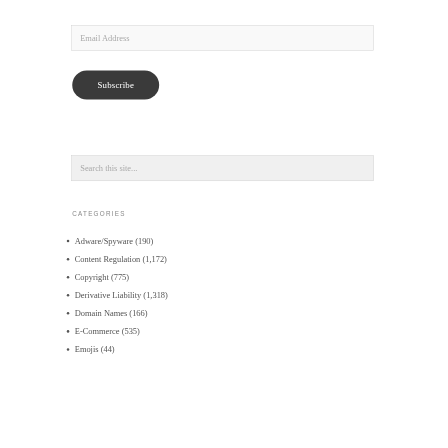Email Address
Subscribe
Search this site...
CATEGORIES
Adware/Spyware (190)
Content Regulation (1,172)
Copyright (775)
Derivative Liability (1,318)
Domain Names (166)
E-Commerce (535)
Emojis (44)